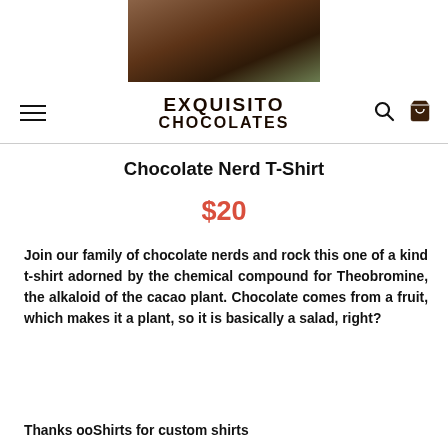[Figure (photo): Partial photo of a person wearing a brown t-shirt, cropped at top]
EXQUISITO CHOCOLATES
Chocolate Nerd T-Shirt
$20
Join our family of chocolate nerds and rock this one of a kind t-shirt adorned by the chemical compound for Theobromine, the alkaloid of the cacao plant. Chocolate comes from a fruit, which makes it a plant, so it is basically a salad, right?
Thanks ooShirts for custom shirts